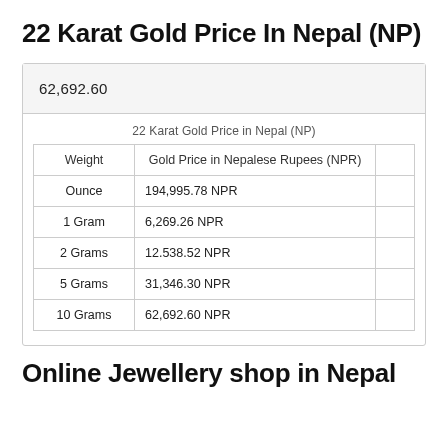22 Karat Gold Price In Nepal (NP)
|  | 22 Karat Gold Price in Nepal (NP) |  |
| --- | --- | --- |
| Weight | Gold Price in Nepalese Rupees (NPR) |  |
| Ounce | 194,995.78 NPR |  |
| 1 Gram | 6,269.26 NPR |  |
| 2 Grams | 12.538.52 NPR |  |
| 5 Grams | 31,346.30 NPR |  |
| 10 Grams | 62,692.60 NPR |  |
Online Jewellery shop in Nepal